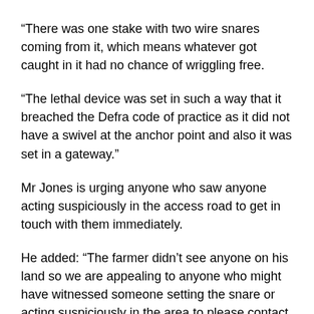“There was one stake with two wire snares coming from it, which means whatever got caught in it had no chance of wriggling free.
“The lethal device was set in such a way that it breached the Defra code of practice as it did not have a swivel at the anchor point and also it was set in a gateway.”
Mr Jones is urging anyone who saw anyone acting suspiciously in the access road to get in touch with them immediately.
He added: “The farmer didn’t see anyone on his land so we are appealing to anyone who might have witnessed someone setting the snare or acting suspiciously in the area to please contact us.”